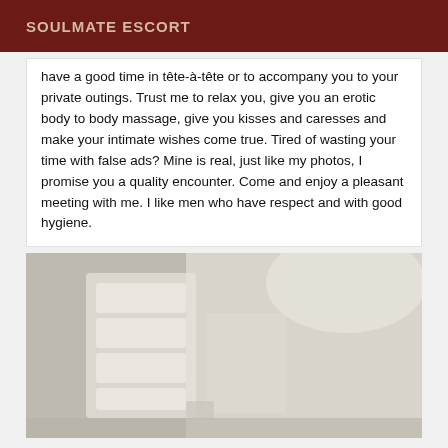SOULMATE ESCORT
have a good time in tête-à-tête or to accompany you to your private outings. Trust me to relax you, give you an erotic body to body massage, give you kisses and caresses and make your intimate wishes come true. Tired of wasting your time with false ads? Mine is real, just like my photos, I promise you a quality encounter. Come and enjoy a pleasant meeting with me. I like men who have respect and with good hygiene.
[Figure (photo): Interior room photo showing white/cream colored wall panels or a bed headboard in soft lighting, very light and washed-out tones]